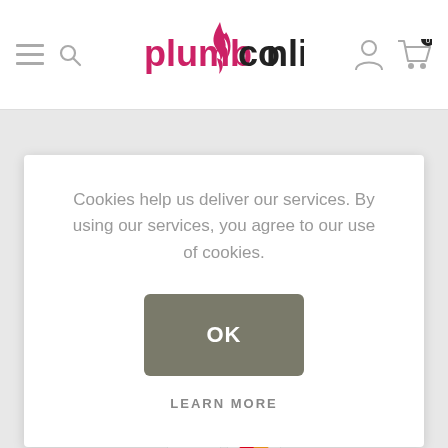plumbconline — navigation header with menu, search, logo, account, cart
Cookies help us deliver our services. By using our services, you agree to our use of cookies.
OK
LEARN MORE
[Figure (illustration): Twitter and Facebook social media icons]
PAYMENT OPTIONS
[Figure (illustration): VISA and Mastercard payment card logos]